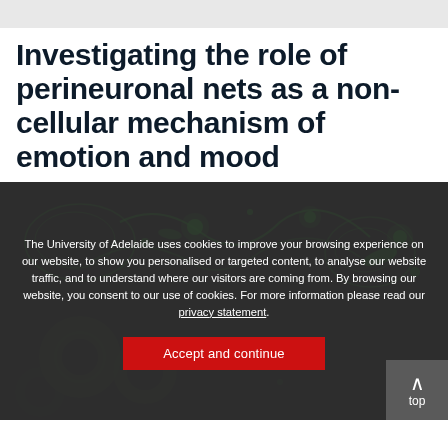Investigating the role of perineuronal nets as a non-cellular mechanism of emotion and mood
[Figure (photo): Fluorescence microscopy image showing neural tissue stained green against a dark background, with glowing green cells/structures visible. A cookie consent overlay and an 'Accept and continue' button appear over the lower portion of the image.]
The University of Adelaide uses cookies to improve your browsing experience on our website, to show you personalised or targeted content, to analyse our website traffic, and to understand where our visitors are coming from. By browsing our website, you consent to our use of cookies. For more information please read our privacy statement.